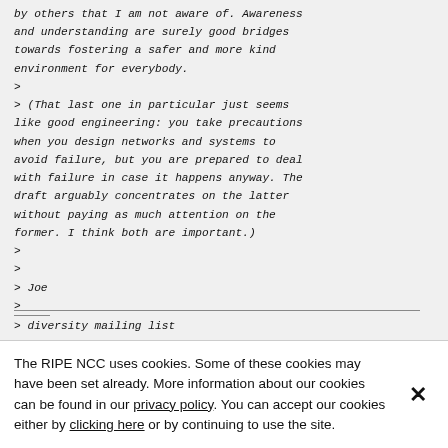by others that I am not aware of. Awareness and understanding are surely good bridges towards fostering a safer and more kind environment for everybody.
>
> (That last one in particular just seems like good engineering: you take precautions when you design networks and systems to avoid failure, but you are prepared to deal with failure in case it happens anyway. The draft arguably concentrates on the latter without paying as much attention on the former. I think both are important.)
>
>
> Joe
>
> diversity mailing list
The RIPE NCC uses cookies. Some of these cookies may have been set already. More information about our cookies can be found in our privacy policy. You can accept our cookies either by clicking here or by continuing to use the site.